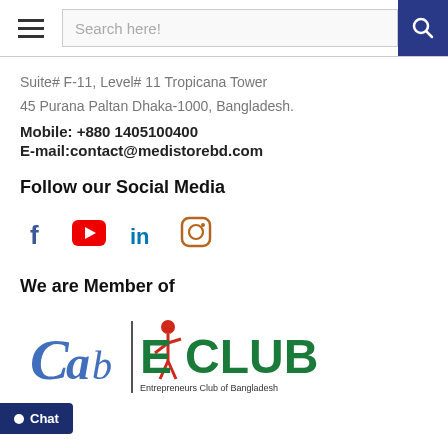Search here!
Suite# F-11, Level# 11 Tropicana Tower
45 Purana Paltan Dhaka-1000, Bangladesh.
Mobile: +880 1405100400
E-mail:contact@medistorebd.com
Follow our Social Media
[Figure (illustration): Social media icons: Facebook (f), YouTube (play button), LinkedIn (in), Instagram (camera)]
We are Member of
[Figure (logo): CAB | ECLUB - Entrepreneurs Club of Bangladesh logo]